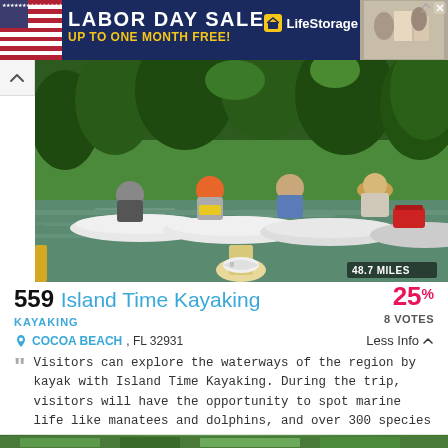[Figure (photo): Labor Day Sale advertisement banner for LifeStorage — UP TO ONE MONTH FREE! with American flag graphic and image of people near storage units]
[Figure (photo): Four people kayaking on a calm waterway surrounded by green mangroves; a paddle in the foreground; badge reads 48.7 MILES]
559 Island Time Kayaking
25% — 8 VOTES
KAYAKING
COCOA BEACH, FL 32931
Less Info
Visitors can explore the waterways of the region by kayak with Island Time Kayaking. During the trip, visitors will have the opportunity to spot marine life like manatees and dolphins, and over 300 species of birds.
[Figure (photo): Partial view of another listing photo at bottom of page]